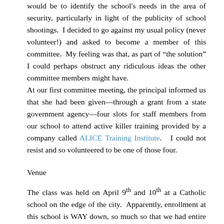would be to identify the school's needs in the area of security, particularly in light of the publicity of school shootings. I decided to go against my usual policy (never volunteer!) and asked to become a member of this committee. My feeling was that, as part of "the solution" I could perhaps obstruct any ridiculous ideas the other committee members might have.
At our first committee meeting, the principal informed us that she had been given—through a grant from a state government agency—four slots for staff members from our school to attend active killer training provided by a company called ALICE Training Institute. I could not resist and so volunteered to be one of those four.
Venue
The class was held on April 9th and 10th at a Catholic school on the edge of the city. Apparently, enrollment at this school is WAY down, so much so that we had entire wing of the